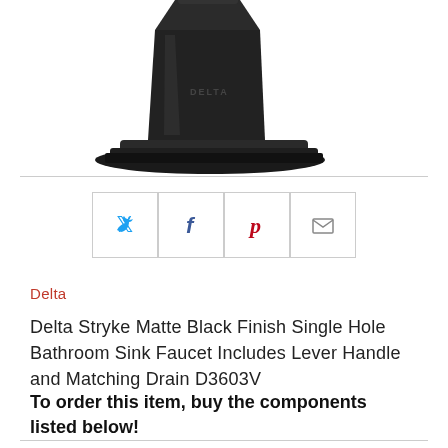[Figure (photo): Close-up photo of a Delta Stryke matte black finish single hole bathroom sink faucet, showing the top and base of the faucet with the DELTA logo visible.]
[Figure (infographic): Four social sharing icon buttons in square bordered boxes: Twitter (blue bird), Facebook (blue f), Pinterest (red P), and Email (envelope icon).]
Delta
Delta Stryke Matte Black Finish Single Hole Bathroom Sink Faucet Includes Lever Handle and Matching Drain D3603V
To order this item, buy the components listed below!